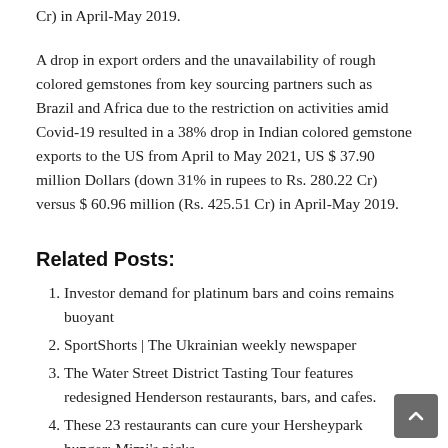Cr) in April-May 2019.
A drop in export orders and the unavailability of rough colored gemstones from key sourcing partners such as Brazil and Africa due to the restriction on activities amid Covid-19 resulted in a 38% drop in Indian colored gemstone exports to the US from April to May 2021, US $ 37.90 million Dollars (down 31% in rupees to Rs. 280.22 Cr) versus $ 60.96 million (Rs. 425.51 Cr) in April-May 2019.
Related Posts:
Investor demand for platinum bars and coins remains buoyant
SportShorts | The Ukrainian weekly newspaper
The Water Street District Tasting Tour features redesigned Henderson restaurants, bars, and cafes.
These 23 restaurants can cure your Hersheypark hunger: Mimi's picks